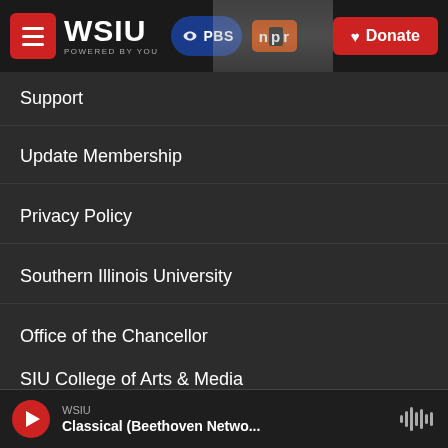WSIU POWERED BY YOU | PBS | NPR | Donate
Support
Update Membership
Privacy Policy
Southern Illinois University
Office of the Chancellor
SIU College of Arts & Media
SIU Board of Trustees
WSIU
Classical (Beethoven Netwo...